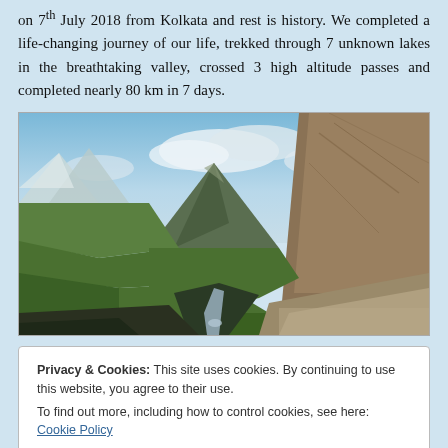on 7th July 2018 from Kolkata and rest is history. We completed a life-changing journey of our life, trekked through 7 unknown lakes in the breathtaking valley, crossed 3 high altitude passes and completed nearly 80 km in 7 days.
[Figure (photo): Mountain valley landscape with a rocky stream running through a green valley, with a sharp peak in the background and snow-capped mountains on the left, under a partly cloudy sky.]
Privacy & Cookies: This site uses cookies. By continuing to use this website, you agree to their use.
To find out more, including how to control cookies, see here: Cookie Policy